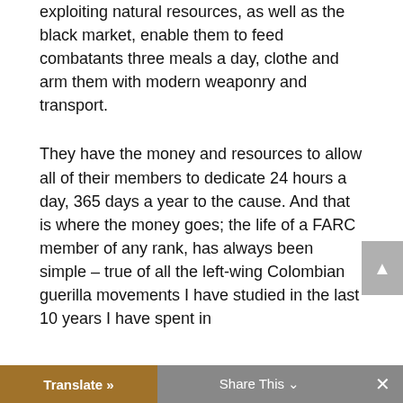exploiting natural resources, as well as the black market, enable them to feed combatants three meals a day, clothe and arm them with modern weaponry and transport.
They have the money and resources to allow all of their members to dedicate 24 hours a day, 365 days a year to the cause. And that is where the money goes; the life of a FARC member of any rank, has always been simple – true of all the left-wing Colombian guerilla movements I have studied in the last 10 years I have spent in